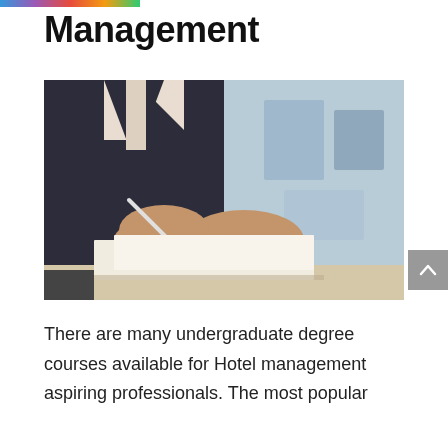Management
[Figure (photo): A person in a dark suit signing or writing on a document at a desk, photographed from the torso down, with a blurred office background.]
There are many undergraduate degree courses available for Hotel management aspiring professionals. The most popular